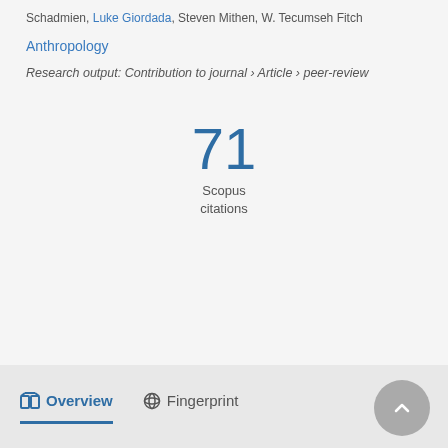Schadmien, Luke Giordada, Steven Mithen, W. Tecumseh Fitch
Anthropology
Research output: Contribution to journal › Article › peer-review
71
Scopus
citations
Overview   Fingerprint